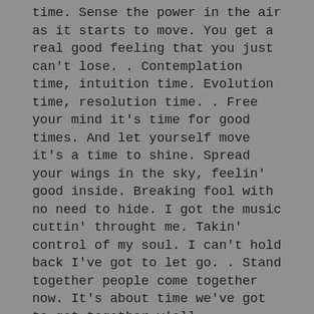time. Sense the power in the air as it starts to move. You get a real good feeling that you just can't lose. . Contemplation time, intuition time. Evolution time, resolution time. . Free your mind it's time for good times. And let yourself move it's a time to shine. Spread your wings in the sky, feelin' good inside. Breaking fool with no need to hide. I got the music cuttin' throught me. Takin' control of my soul. I can't hold back I've got to let go. . Stand together people come together now. It's about time we've got to get together y'all.